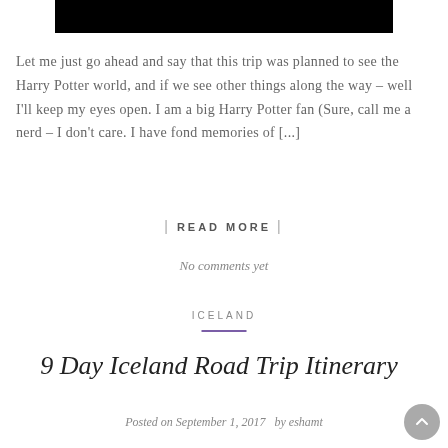[Figure (photo): Black rectangular image at top of page]
Let me just go ahead and say that this trip was planned to see the Harry Potter world, and if we see other things along the way – well I'll keep my eyes open. I am a big Harry Potter fan (Sure, call me a nerd – I don't care. I have fond memories of [...]
| READ MORE |
No comments yet
ICELAND
9 Day Iceland Road Trip Itinerary
Posted on September 1, 2017  by eshamt